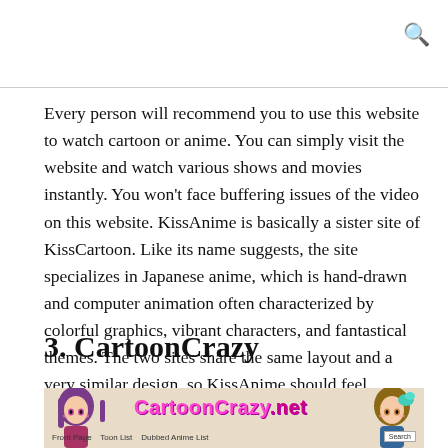Every person will recommend you to use this website to watch cartoon or anime. You can simply visit the website and watch various shows and movies instantly. You won't face buffering issues of the video on this website. KissAnime is basically a sister site of KissCartoon. Like its name suggests, the site specializes in Japanese anime, which is hand-drawn and computer animation often characterized by colorful graphics, vibrant characters, and fantastical themes. The two sites share the same layout and a very similar design, so KissAnime should feel instantly familiar to all KissCartoon users.
3. CartoonCrazy
[Figure (screenshot): Screenshot of CartoonCrazy.net website showing the site logo with anime characters on left and right sides, site name in pink/magenta text, and navigation bar at the bottom with links: Front Page, Toon List, Dubbed Anime List, and a Search box.]